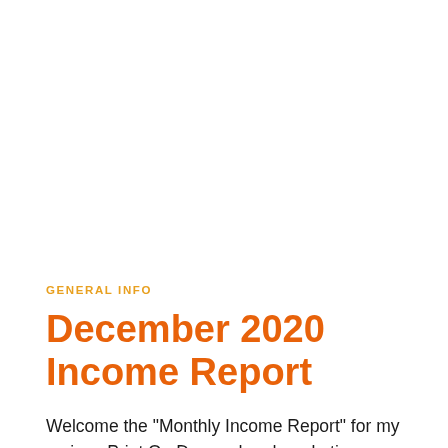GENERAL INFO
December 2020 Income Report
Welcome the "Monthly Income Report" for my various Print On Demand and marketing endeavors for November